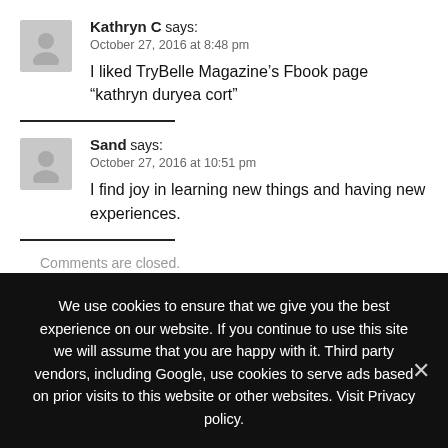Kathryn C says: October 27, 2016 at 8:48 pm
I liked TryBelle Magazine’s Fbook page “kathryn duryea cort”
Sand says: October 27, 2016 at 10:51 pm
I find joy in learning new things and having new experiences.
Comments are closed.
We use cookies to ensure that we give you the best experience on our website. If you continue to use this site we will assume that you are happy with it. Third party vendors, including Google, use cookies to serve ads based on prior visits to this website or other websites. Visit Privacy policy.